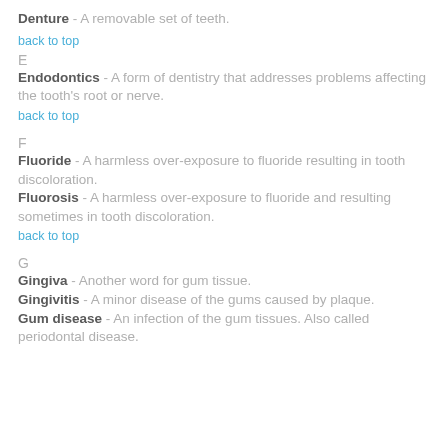Denture - A removable set of teeth.
back to top
E
Endodontics - A form of dentistry that addresses problems affecting the tooth's root or nerve.
back to top
F
Fluoride - A harmless over-exposure to fluoride resulting in tooth discoloration.
Fluorosis - A harmless over-exposure to fluoride and resulting sometimes in tooth discoloration.
back to top
G
Gingiva - Another word for gum tissue.
Gingivitis - A minor disease of the gums caused by plaque.
Gum disease - An infection of the gum tissues. Also called periodontal disease.